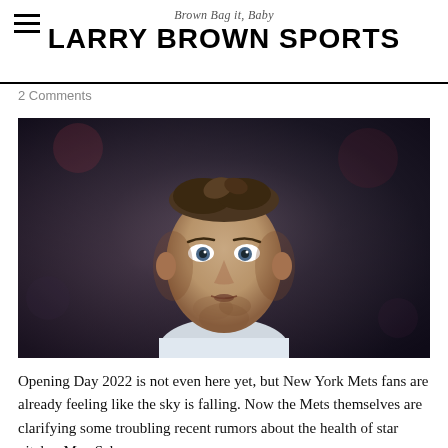Brown Bag it, Baby
LARRY BROWN SPORTS
2 Comments
[Figure (photo): Close-up photo of Max Scherzer, a baseball pitcher, looking upward with a serious expression. He has short dark hair and stubble, wearing a white jersey. Blurred crowd background.]
Opening Day 2022 is not even here yet, but New York Mets fans are already feeling like the sky is falling. Now the Mets themselves are clarifying some troubling recent rumors about the health of star pitcher Max Scherzer.